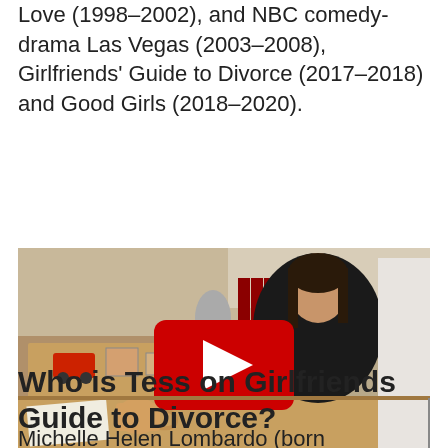Love (1998–2002), and NBC comedy-drama Las Vegas (2003–2008), Girlfriends' Guide to Divorce (2017–2018) and Good Girls (2018–2020).
[Figure (screenshot): Video thumbnail showing a woman sitting at a desk in an office scene with a YouTube play button overlay (red rectangle with white triangle).]
Who is Tess on Girlfriends Guide to Divorce?
Michelle Helen Lombardo (born September